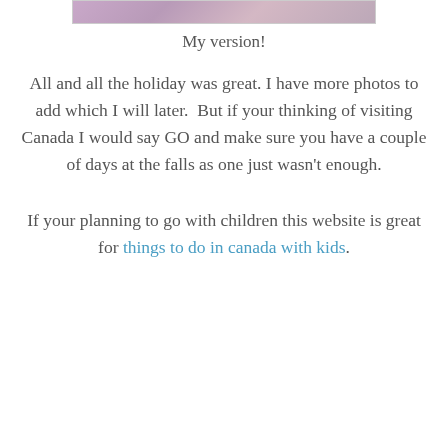[Figure (photo): Partial view of a decorative image with floral/mandala pattern in purple and pink tones]
My version!
All and all the holiday was great. I have more photos to add which I will later.  But if your thinking of visiting Canada I would say GO and make sure you have a couple of days at the falls as one just wasn't enough.
If your planning to go with children this website is great for things to do in canada with kids.